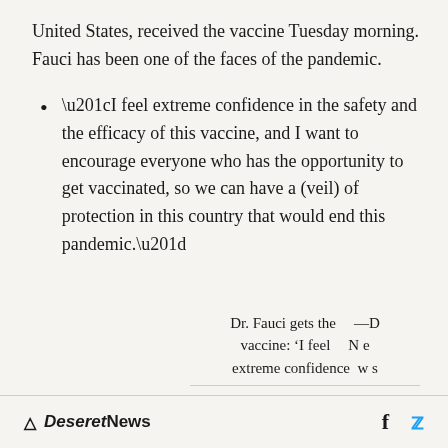United States, received the vaccine Tuesday morning. Fauci has been one of the faces of the pandemic.
“I feel extreme confidence in the safety and the efficacy of this vaccine, and I want to encourage everyone who has the opportunity to get vaccinated, so we can have a (veil) of protection in this country that would end this pandemic.”
Dr. Fauci gets the vaccine: ‘I feel extreme confidence’ —D N e w s
Deseret News